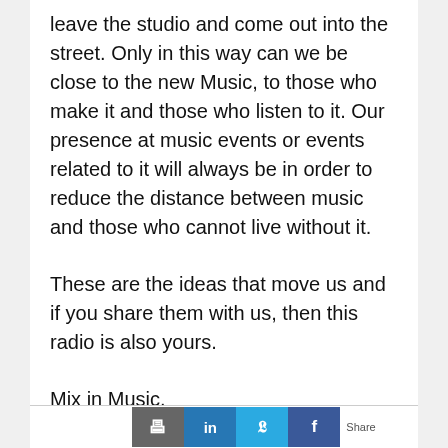leave the studio and come out into the street. Only in this way can we be close to the new Music, to those who make it and those who listen to it. Our presence at music events or events related to it will always be in order to reduce the distance between music and those who cannot live without it.
These are the ideas that move us and if you share them with us, then this radio is also yours.
Mix in Music.
Reply